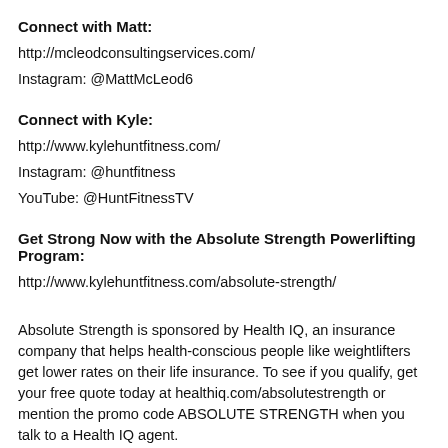Connect with Matt:
http://mcleodconsultingservices.com/
Instagram: @MattMcLeod6
Connect with Kyle:
http://www.kylehuntfitness.com/
Instagram: @huntfitness
YouTube: @HuntFitnessTV
Get Strong Now with the Absolute Strength Powerlifting Program:
http://www.kylehuntfitness.com/absolute-strength/
Absolute Strength is sponsored by Health IQ, an insurance company that helps health-conscious people like weightlifters get lower rates on their life insurance. To see if you qualify, get your free quote today at healthiq.com/absolutestrength or mention the promo code ABSOLUTE STRENGTH when you talk to a Health IQ agent.